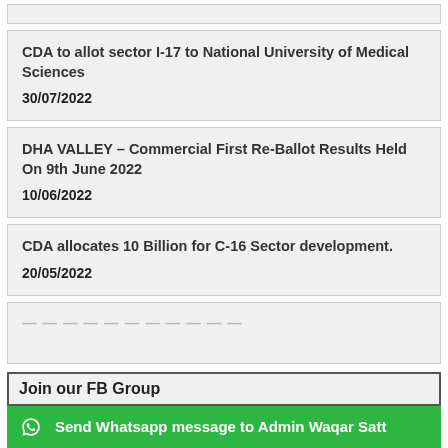CDA to allot sector I-17 to National University of Medical Sciences
30/07/2022
DHA VALLEY – Commercial First Re-Ballot Results Held On 9th June 2022
10/06/2022
CDA allocates 10 Billion for C-16 Sector development.
20/05/2022
Join our FB Group
Send Whatsapp message to Admin Waqar Satt